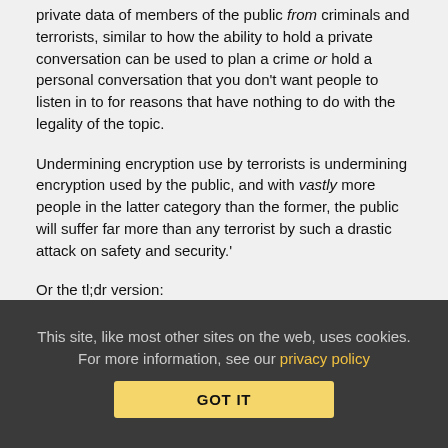private data of members of the public from criminals and terrorists, similar to how the ability to hold a private conversation can be used to plan a crime or hold a personal conversation that you don't want people to listen in to for reasons that have nothing to do with the legality of the topic.
Undermining encryption use by terrorists is undermining encryption used by the public, and with vastly more people in the latter category than the former, the public will suffer far more than any terrorist by such a drastic attack on safety and security.'
Or the tl;dr version:
'Politicians who are calling for 'back-doors' in encryption, or anything along those lines, are politicians calling for the undermining of public privacy and security, and claiming that they are doing so in order to protect privacy and security. They are either lying and/or willfully ignorant in their attempts to do so and should be soundly mocked for putting forth such dangerous
This site, like most other sites on the web, uses cookies. For more information, see our privacy policy
GOT IT